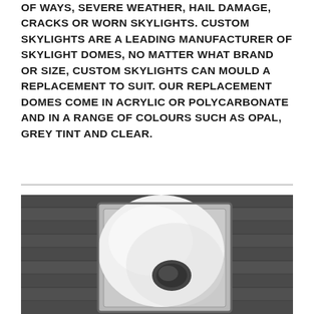OF WAYS, SEVERE WEATHER, HAIL DAMAGE, CRACKS OR WORN SKYLIGHTS. CUSTOM SKYLIGHTS ARE A LEADING MANUFACTURER OF SKYLIGHT DOMES, NO MATTER WHAT BRAND OR SIZE, CUSTOM SKYLIGHTS CAN MOULD A REPLACEMENT TO SUIT. OUR REPLACEMENT DOMES COME IN ACRYLIC OR POLYCARBONATE AND IN A RANGE OF COLOURS SUCH AS OPAL, GREY TINT AND CLEAR.
[Figure (photo): Black and white photograph of a skylight dome installed on a roof with dark shingles. The dome is white/opal coloured, dome-shaped with a square frame, sitting on a shingled roof surface.]